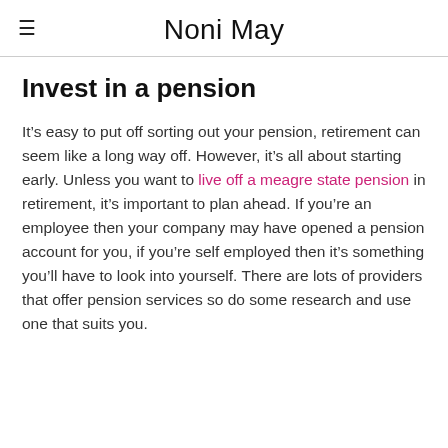Noni May
Invest in a pension
It’s easy to put off sorting out your pension, retirement can seem like a long way off. However, it’s all about starting early. Unless you want to live off a meagre state pension in retirement, it’s important to plan ahead. If you’re an employee then your company may have opened a pension account for you, if you’re self employed then it’s something you’ll have to look into yourself. There are lots of providers that offer pension services so do some research and use one that suits you.